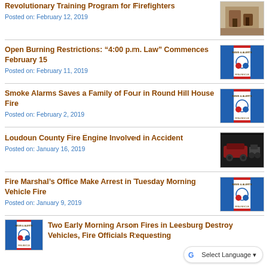Revolutionary Training Program for Firefighters
Posted on: February 12, 2019
Open Burning Restrictions: “4:00 p.m. Law” Commences February 15
Posted on: February 11, 2019
Smoke Alarms Saves a Family of Four in Round Hill House Fire
Posted on: February 2, 2019
Loudoun County Fire Engine Involved in Accident
Posted on: January 16, 2019
Fire Marshal’s Office Make Arrest in Tuesday Morning Vehicle Fire
Posted on: January 9, 2019
Two Early Morning Arson Fires in Leesburg Destroy Vehicles, Fire Officials Requesting…